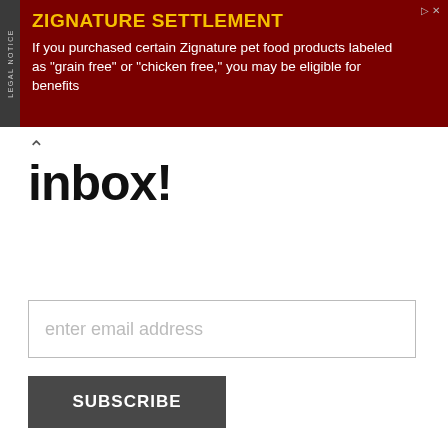[Figure (other): Advertisement banner for Zignature Settlement with dark red background, yellow title 'ZIGNATURE SETTLEMENT', white body text about grain free or chicken free pet food products]
inbox!
enter email address
SUBSCRIBE
We use cookies on our website to give you the most relevant experience by remembering your preferences and repeat visits. By clicking “Accept”, you consent to the use of ALL the cookies.
Do not sell my personal information.
Cookie Settings
Accept